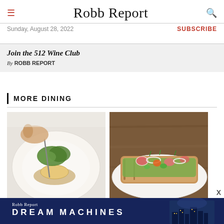Robb Report
Sunday, August 28, 2022
SUBSCRIBE
Join the 512 Wine Club
By ROBB REPORT
MORE DINING
[Figure (photo): Hand using a fork and knife on a gourmet dish with greens and sauce on a white plate]
[Figure (photo): Avocado toast topped with sliced radishes, cherry tomatoes, jalapeños, and onions on a white plate with wooden background]
[Figure (photo): Robb Report Dream Machines advertisement banner with city skyline at night]